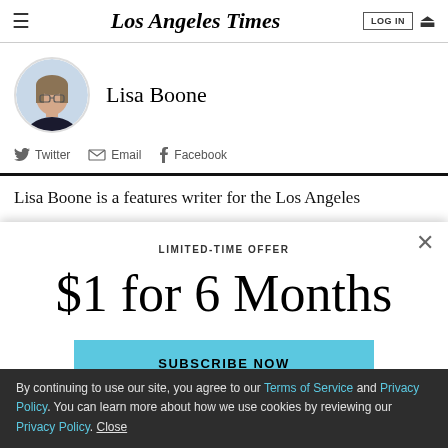Los Angeles Times
[Figure (photo): Circular author photo of Lisa Boone, a woman with glasses and shoulder-length hair wearing a dark jacket]
Lisa Boone
Twitter  Email  Facebook
Lisa Boone is a features writer for the Los Angeles
LIMITED-TIME OFFER
$1 for 6 Months
SUBSCRIBE NOW
By continuing to use our site, you agree to our Terms of Service and Privacy Policy. You can learn more about how we use cookies by reviewing our Privacy Policy. Close